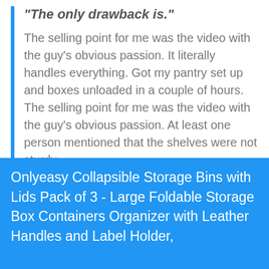"The only drawback is."
The selling point for me was the video with the guy's obvious passion. It literally handles everything. Got my pantry set up and boxes unloaded in a couple of hours. The selling point for me was the video with the guy's obvious passion. At least one person mentioned that the shelves were not sturdy.
Onlyeasy Collapsible Storage Bins with Lids Pack of 3 - Large Foldable Storage Box Containers Organizer with Leather Handles and Label Holder,